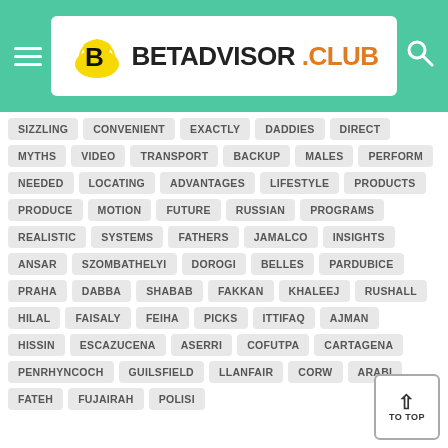BETADVISOR.CLUB
SIZZLING
CONVENIENT
EXACTLY
DADDIES
DIRECT
MYTHS
VIDEO
TRANSPORT
BACKUP
MALES
PERFORM
NEEDED
LOCATING
ADVANTAGES
LIFESTYLE
PRODUCTS
PRODUCE
MOTION
FUTURE
RUSSIAN
PROGRAMS
REALISTIC
SYSTEMS
FATHERS
JAMALCO
INSIGHTS
ANSAR
SZOMBATHELYI
DOROGI
BELLES
PARDUBICE
PRAHA
DABBA
SHABAB
FAKKAN
KHALEEJ
RUSHALL
HILAL
FAISALY
FEIHA
PICKS
ITTIFAQ
AJMAN
HISSIN
ESCAZUCENA
ASERRI
COFUTPA
CARTAGENA
PENRHYNCOCH
GUILSFIELD
LLANFAIR
CORW...
ARABI
FATEH
FUJAIRAH
POLISI